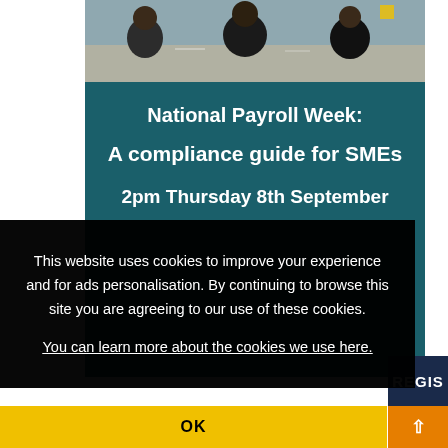[Figure (photo): People seated around a table at a business meeting or conference, seen from behind]
National Payroll Week:
A compliance guide for SMEs
2pm Thursday 8th September
This website uses cookies to improve your experience and for ads personalisation. By continuing to browse this site you are agreeing to our use of these cookies.
You can learn more about the cookies we use here.
OK